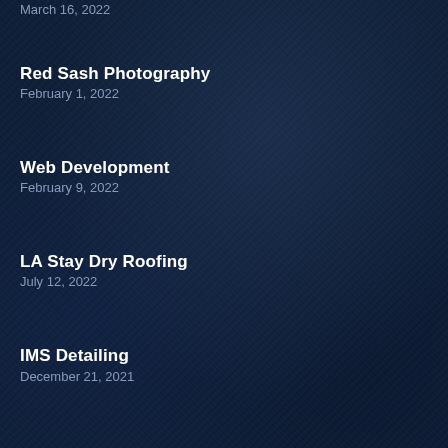March 16, 2022
Red Sash Photography
February 1, 2022
Web Development
February 9, 2022
LA Stay Dry Roofing
July 12, 2022
IMS Detailing
December 21, 2021
Car finance and loan company
July 5, 2021